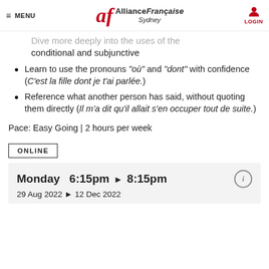MENU | Alliance Française Sydney | LOGIN
Dive more deeply into the uses of the conditional and subjunctive
Learn to use the pronouns "où" and "dont" with confidence (C'est la fille dont je t'ai parlée.)
Reference what another person has said, without quoting them directly (Il m'a dit qu'il allait s'en occuper tout de suite.)
Pace: Easy Going | 2 hours per week
ONLINE
Monday  6:15pm ► 8:15pm
29 Aug 2022 ► 12 Dec 2022